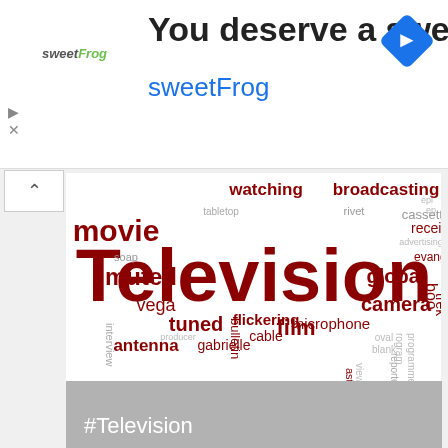[Figure (infographic): Advertisement banner for sweetFrog frozen yogurt. Shows 'You deserve a sweet Treat' headline, sweetFrog logo and brand name in blue, Google Maps navigation icon in blue diamond shape.]
[Figure (infographic): Word cloud with television-related words. Central large word 'Television' in dark red/maroon. Surrounding words include: watching, broadcasting, documentary, movie, muted, vega, antenna, tuned, bulletin, gabrielle, cable, film, flickering, microphone, cassette, picture, serial, soap, interview, reporter, viewer, special, global, camera, video, trek, boo, receiver, evangelist, astronaut, producer, oval, blank, rivet, tabletop, ep, advertising, rogram, programmer, epi, rt]
#Television